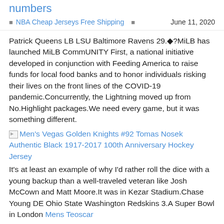numbers
NBA Cheap Jerseys Free Shipping    June 11, 2020
Patrick Queens LB LSU Baltimore Ravens 29.◆?MiLB has launched MiLB CommUNITY First, a national initiative developed in conjunction with Feeding America to raise funds for local food banks and to honor individuals risking their lives on the front lines of the COVID-19 pandemic.Concurrently, the Lightning moved up from No.Highlight packages.We need every game, but it was something different.
Men's Vegas Golden Knights #92 Tomas Nosek Authentic Black 1917-2017 100th Anniversary Hockey Jersey
It's at least an example of why I'd rather roll the dice with a young backup than a well-traveled veteran like Josh McCown and Matt Moore.It was in Kezar Stadium.Chase Young DE Ohio State Washington Redskins 3.A Super Bowl in London Mens Teoscar